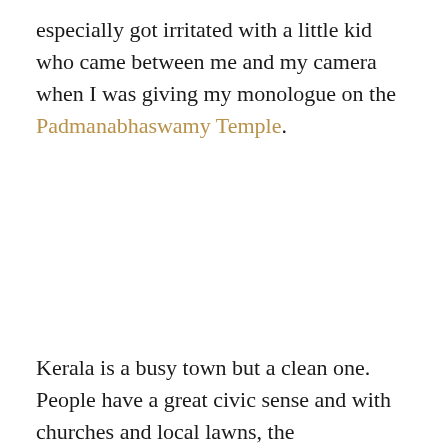especially got irritated with a little kid who came between me and my camera when I was giving my monologue on the Padmanabhaswamy Temple.
Kerala is a busy town but a clean one. People have a great civic sense and with churches and local lawns, the...